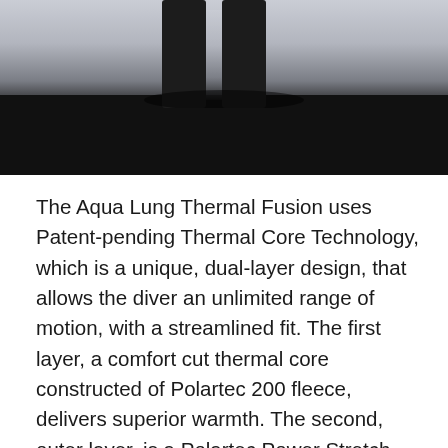[Figure (photo): A person's legs in dark clothing standing, viewed from below the waist, with a light floor background. The lower portion of the image is a dark/black band.]
The Aqua Lung Thermal Fusion uses Patent-pending Thermal Core Technology, which is a unique, dual-layer design, that allows the diver an unlimited range of motion, with a streamlined fit. The first layer, a comfort cut thermal core constructed of Polartec 200 fleece, delivers superior warmth. The second, outer layer, is a Polartec Power Stretch Pro compression skin which streamlines the inner core to the diver's body, provides a custom fit, and allows maximum range of motion.